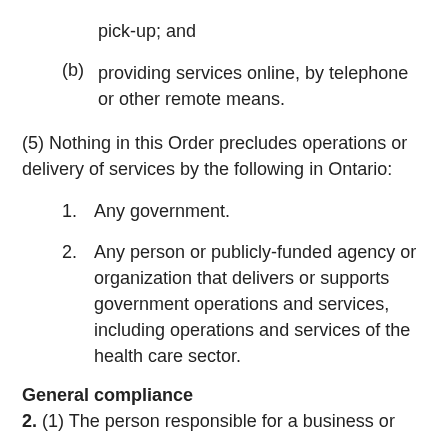pick-up; and
(b) providing services online, by telephone or other remote means.
(5) Nothing in this Order precludes operations or delivery of services by the following in Ontario:
1. Any government.
2. Any person or publicly-funded agency or organization that delivers or supports government operations and services, including operations and services of the health care sector.
General compliance
2. (1) The person responsible for a business or